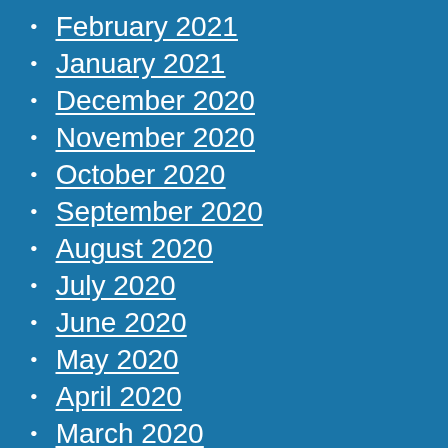February 2021
January 2021
December 2020
November 2020
October 2020
September 2020
August 2020
July 2020
June 2020
May 2020
April 2020
March 2020
February 2020